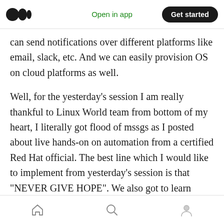Open in app | Get started
can send notifications over different platforms like email, slack, etc. And we can easily provision OS on cloud platforms as well.
Well, for the yesterday’s session I am really thankful to Linux World team from bottom of my heart, I literally got flood of mssgs as I posted about live hands-on on automation from a certified Red Hat official. The best line which I would like to implement from yesterday’s session is that “NEVER GIVE HOPE”. We also got to learn atleast some thing about Ansible Tower and slack based notification which is also a +ve point to us
Home | Search | Profile